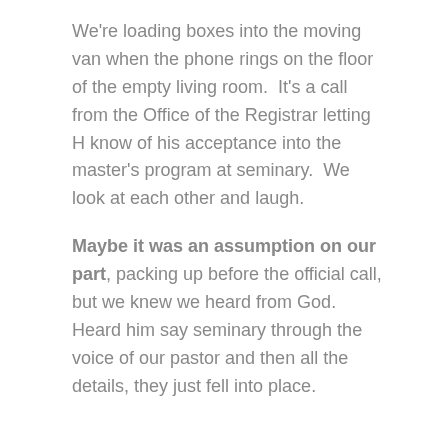We're loading boxes into the moving van when the phone rings on the floor of the empty living room.  It's a call from the Office of the Registrar letting H know of his acceptance into the master's program at seminary.  We look at each other and laugh.
Maybe it was an assumption on our part, packing up before the official call, but we knew we heard from God. Heard him say seminary through the voice of our pastor and then all the details, they just fell into place.